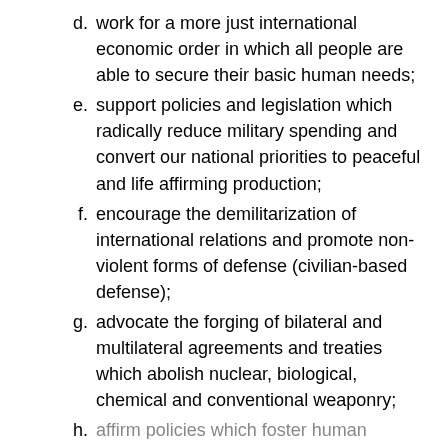d. work for a more just international economic order in which all people are able to secure their basic human needs;
e. support policies and legislation which radically reduce military spending and convert our national priorities to peaceful and life affirming production;
f. encourage the demilitarization of international relations and promote non-violent forms of defense (civilian-based defense);
g. advocate the forging of bilateral and multilateral agreements and treaties which abolish nuclear, biological, chemical and conventional weaponry;
h. affirm policies which foster human rights...